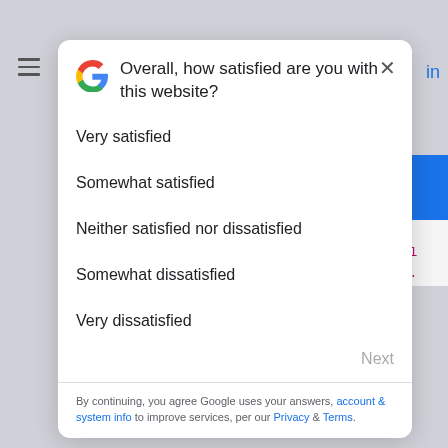[Figure (screenshot): Google satisfaction survey modal dialog over a webpage background. The modal has a Google G logo, a close X button, the question 'Overall, how satisfied are you with this website?', five radio list options (Very satisfied, Somewhat satisfied, Neither satisfied nor dissatisfied, Somewhat dissatisfied, Very dissatisfied), a Next button, a divider, and footer text about Google's privacy policy. Background shows hamburger menu, blue button, and code snippets.]
Overall, how satisfied are you with this website?
Very satisfied
Somewhat satisfied
Neither satisfied nor dissatisfied
Somewhat dissatisfied
Very dissatisfied
Next
By continuing, you agree Google uses your answers, account & system info to improve services, per our Privacy & Terms.